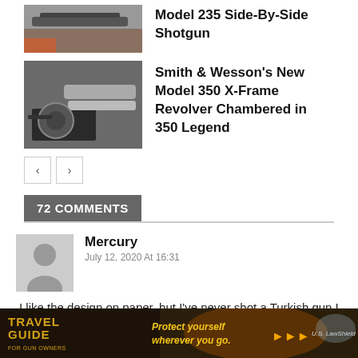[Figure (photo): Thumbnail image of a shotgun]
Model 235 Side-By-Side Shotgun
[Figure (photo): Thumbnail image of Smith & Wesson revolver with case]
Smith & Wesson's New Model 350 X-Frame Revolver Chambered in 350 Legend
72 COMMENTS
Mercury
July 12, 2020 At 16:31
I like the design on paper, but I've never shot a Turkish gun I thought was worth the metal it was made of. Anyone here have personal experience
[Figure (infographic): Travel Guide for Gun Owners advertisement banner — Protect yourself wherever you go. U.S. LawShield]